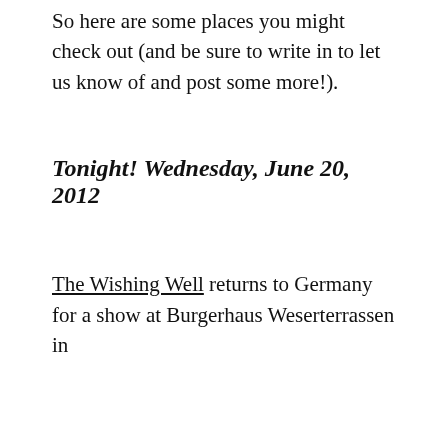So here are some places you might check out (and be sure to write in to let us know of and post some more!).
Tonight! Wednesday, June 20, 2012
The Wishing Well returns to Germany for a show at Burgerhaus Weserterrassen in